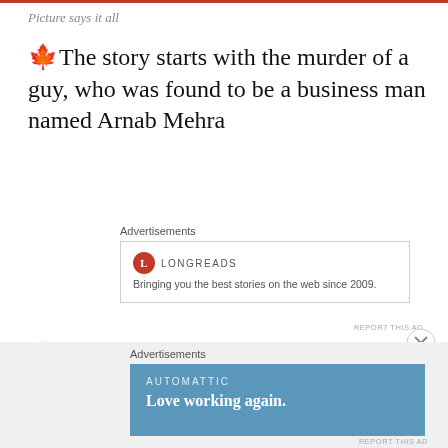Picture says it all
🍁The story starts with the murder of a guy, who was found to be a business man named Arnab Mehra
[Figure (other): Longreads advertisement banner: logo circle with L, brand name LONGREADS, tagline 'Bringing you the best stories on the web since 2009.']
🍁The investigation goes on further and the police starts investigating on the death happened at same place few months back.
[Figure (other): Automattic advertisement banner with blue background, brand name AUTOMATTIC, tagline 'Love working again.']